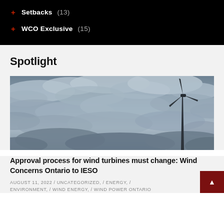+ Setbacks (13)
+ WCO Exclusive (15)
Spotlight
[Figure (photo): A wind turbine silhouetted against a dramatic cloudy sky, photographed in dark bluish-grey tones.]
Approval process for wind turbines must change: Wind Concerns Ontario to IESO
AUGUST 11, 2022 / UNCATEGORIZED, / ENERGY, / ENVIRONMENT, / WIND ENERGY, / WIND POWER ONTARIO